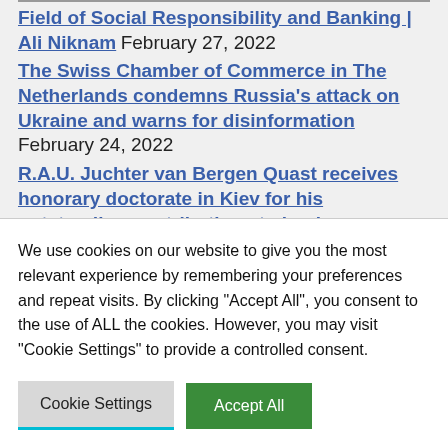Field of Social Responsibility and Banking | Ali Niknam February 27, 2022
The Swiss Chamber of Commerce in The Netherlands condemns Russia's attack on Ukraine and warns for disinformation February 24, 2022
R.A.U. Juchter van Bergen Quast receives honorary doctorate in Kiev for his outstanding contributions to business development December 24, 2021
We use cookies on our website to give you the most relevant experience by remembering your preferences and repeat visits. By clicking “Accept All”, you consent to the use of ALL the cookies. However, you may visit "Cookie Settings" to provide a controlled consent.